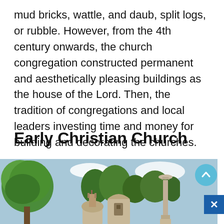mud bricks, wattle, and daub, split logs, or rubble. However, from the 4th century onwards, the church congregation constructed permanent and aesthetically pleasing buildings as the house of the Lord. Then, the tradition of congregations and local leaders investing time and money for building and decorating the churches.
Early Christian Church
[Figure (photo): Photograph showing ancient church ruins and classical column against a blue sky with trees. A circular scroll-up button (blue) is overlaid on the top right of the image, and a blue close/X button is at the bottom right edge.]